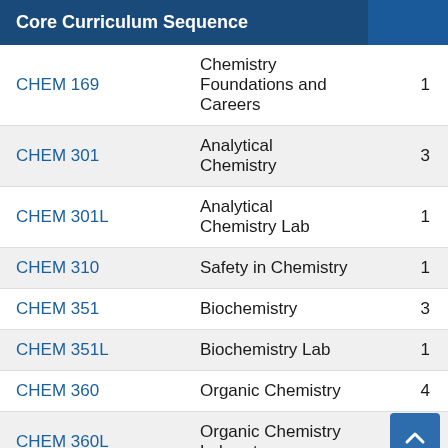| Core Curriculum Sequence |  |  |
| --- | --- | --- |
| CHEM 169 | Chemistry Foundations and Careers | 1 |
| CHEM 301 | Analytical Chemistry | 3 |
| CHEM 301L | Analytical Chemistry Lab | 1 |
| CHEM 310 | Safety in Chemistry | 1 |
| CHEM 351 | Biochemistry | 3 |
| CHEM 351L | Biochemistry Lab | 1 |
| CHEM 360 | Organic Chemistry | 4 |
| CHEM 360L | Organic Chemistry Laboratory | 1 |